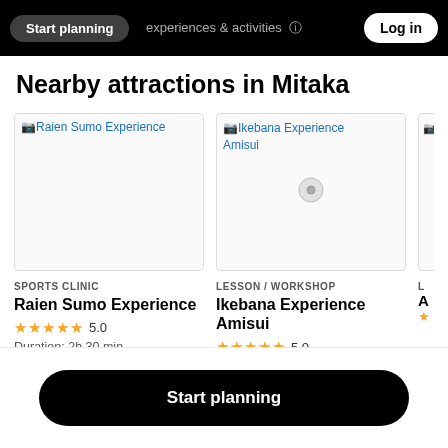Start planning  experiences & activities  Log in
Nearby attractions in Mitaka
[Figure (screenshot): Card image placeholder for Raien Sumo Experience]
SPORTS CLINIC
Raien Sumo Experience
★★★★★ 5.0
Duration: 2h 30 min
[Figure (screenshot): Card image placeholder for Ikebana Experience Amisui]
LESSON / WORKSHOP
Ikebana Experience Amisui
★★★★★ 5.0
Duration: 1h 30 min
[Figure (screenshot): Partial card image placeholder for third attraction]
L
A
(star)
Start planning